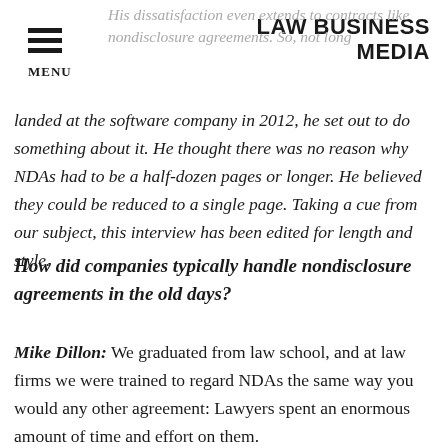LAW BUSINESS MEDIA
His dissatisfaction even extends to contracts like nondisclosure agreements. So, not long landed at the software company in 2012, he set out to do something about it. He thought there was no reason why NDAs had to be a half-dozen pages or longer. He believed they could be reduced to a single page. Taking a cue from our subject, this interview has been edited for length and style.
How did companies typically handle nondisclosure agreements in the old days?
Mike Dillon: We graduated from law school, and at law firms we were trained to regard NDAs the same way you would any other agreement: Lawyers spent an enormous amount of time and effort on them.